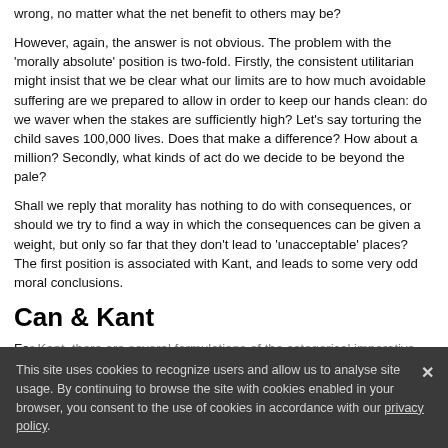wrong, no matter what the net benefit to others may be?
However, again, the answer is not obvious. The problem with the 'morally absolute' position is two-fold. Firstly, the consistent utilitarian might insist that we be clear what our limits are to how much avoidable suffering are we prepared to allow in order to keep our hands clean: do we waver when the stakes are sufficiently high? Let’s say torturing the child saves 100,000 lives. Does that make a difference? How about a million? Secondly, what kinds of act do we decide to be beyond the pale?
Shall we reply that morality has nothing to do with consequences, or should we try to find a way in which the consequences can be given a weight, but only so far that they don't lead to ‘unacceptable’ places? The first position is associated with Kant, and leads to some very odd moral conclusions.
Can & Kant
Fo... [text partially obscured by cookie overlay] ...re be... [partially obscured] ...us... [partially obscured] ...fo... formulation ...orical imperative which are superficially dissimilar but which turn out to be equivalent. There isn't space here to
This site uses cookies to recognize users and allow us to analyse site usage. By continuing to browse the site with cookies enabled in your browser, you consent to the use of cookies in accordance with our privacy policy.